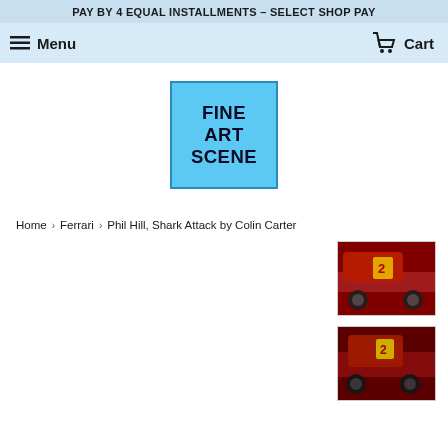PAY BY 4 EQUAL INSTALLMENTS – SELECT SHOP PAY
Menu  Cart
[Figure (logo): Fine Art Scene logo — light blue square with dark text reading FINE ART SCENE in three lines]
Home › Ferrari › Phil Hill, Shark Attack by Colin Carter
[Figure (photo): Thumbnail image of a red Ferrari racing car with number 2, close-up view]
[Figure (photo): Thumbnail image of a red Ferrari racing car with number 2, slightly different angle]